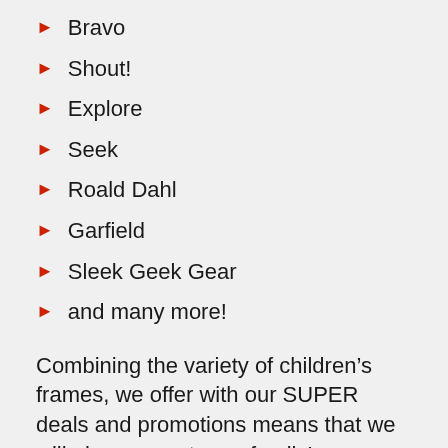Bravo
Shout!
Explore
Seek
Roald Dahl
Garfield
Sleek Geek Gear
and many more!
Combining the variety of children’s frames, we offer with our SUPER deals and promotions means that we will always meet your family’s eye care needs.